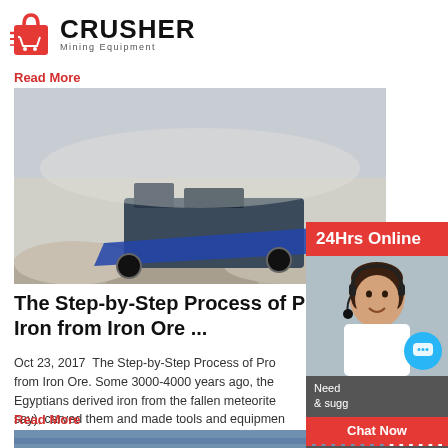CRUSHER Mining Equipment
Read More
[Figure (photo): Mining crusher equipment operating at a quarry site with piles of crushed stone]
The Step-by-Step Process of Proc Iron from Iron Ore ...
Oct 23, 2017  The Step-by-Step Process of Proc from Iron Ore. Some 3000-4000 years ago, the Egyptians derived iron from the fallen meteorite say), carved them and made tools and equipmen jewelry. We have come a long way since then. N all, pure iron
Read More
[Figure (photo): Second photo of mining/crusher equipment at site]
[Figure (photo): 24Hrs Online sidebar with customer service representative wearing headset, chat now button, enquiry section, and limingjlmofen@sina.com email]